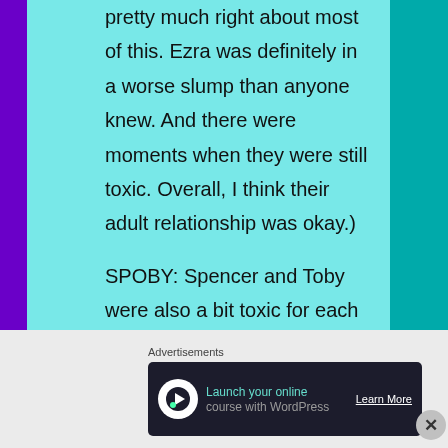pretty much right about most of this. Ezra was definitely in a worse slump than anyone knew. And there were moments when they were still toxic. Overall, I think their adult relationship was okay.)
SPOBY: Spencer and Toby were also a bit toxic for each other. Even more than Ezra was a drug for Aria, Toby and Spencer were drugs for each other. I mean
Advertisements
[Figure (other): Advertisement banner: dark background with circular icon, text 'Launch your online course with WordPress' and 'Learn More' button]